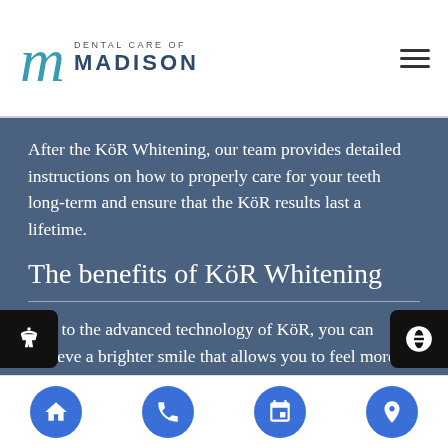Dental Care of Madison
After the KöR Whitening, our team provides detailed instructions on how to properly care for your teeth long-term and ensure that the KöR results last a lifetime.
The benefits of KöR Whitening
Due to the advanced technology of KöR, you can achieve a brighter smile that allows you to feel more confident in social situations, while at work and in every other moment of your day-to-day life. While this can also be true
Navigation: Home, Phone, Calendar, Location